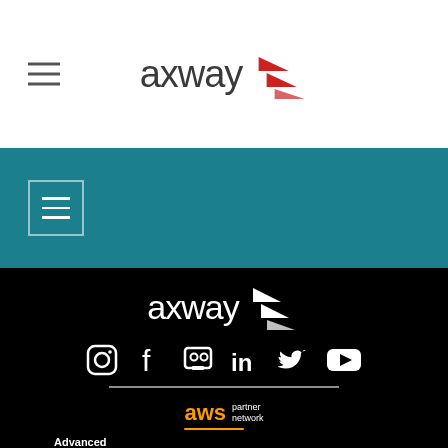[Figure (logo): Axway logo in white header navigation bar with hamburger menu icon]
[Figure (logo): Hamburger menu button in teal navigation bar]
[Figure (logo): Axway white logo in black footer section]
[Figure (infographic): Social media icons row: Instagram, Facebook, SlideShare/custom, LinkedIn, Twitter/X, YouTube]
[Figure (logo): AWS Partner Network - Advanced Technology Partner logo with divider line above]